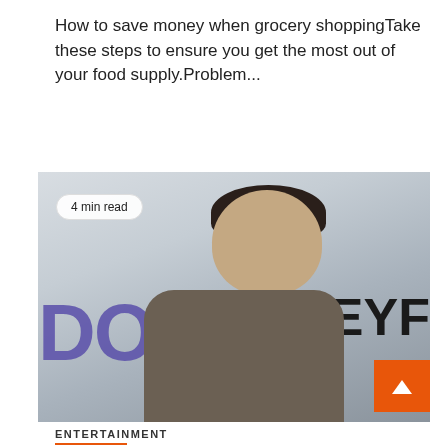How to save money when grocery shoppingTake these steps to ensure you get the most out of your food supply.Problem...
[Figure (photo): A man in a brown blazer and white shirt smiling at the camera, photographed at a Yahoo and PaleyFest media event. A '4 min read' badge overlays the top-left of the image. An orange scroll-to-top button appears in the bottom-right corner.]
ENTERTAINMENT